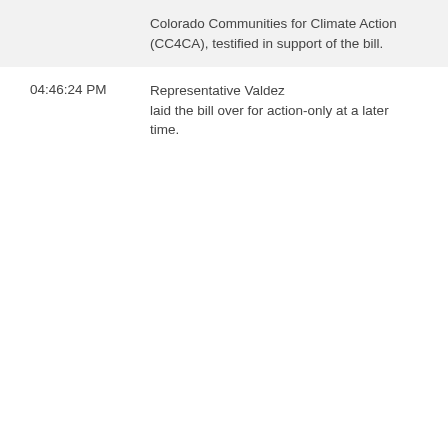Colorado Communities for Climate Action (CC4CA), testified in support of the bill.
04:46:24 PM
Representative Valdez laid the bill over for action-only at a later time.